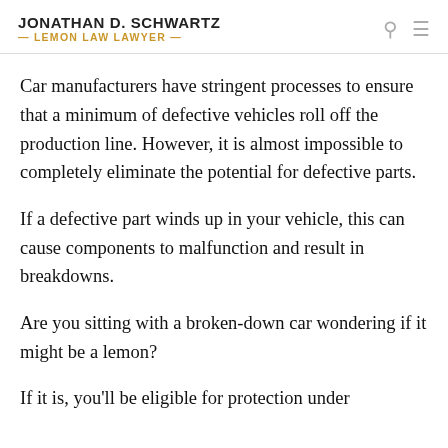JONATHAN D. SCHWARTZ — LEMON LAW LAWYER —
Car manufacturers have stringent processes to ensure that a minimum of defective vehicles roll off the production line. However, it is almost impossible to completely eliminate the potential for defective parts.
If a defective part winds up in your vehicle, this can cause components to malfunction and result in breakdowns.
Are you sitting with a broken-down car wondering if it might be a lemon?
If it is, you'll be eligible for protection under